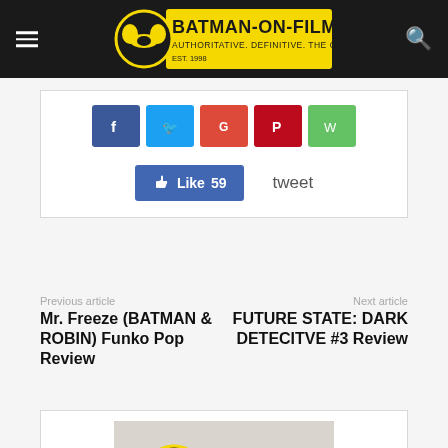BATMAN-ON-FILM.COM — AUTHORITATIVE. DEFINITIVE. THE ORIGINAL. EST. 1998
[Figure (screenshot): Social media share buttons: Facebook, Twitter, Google+, Pinterest, WhatsApp]
[Figure (screenshot): Facebook Like button showing 59 likes, and tweet text link]
Previous article
Mr. Freeze (BATMAN & ROBIN) Funko Pop Review
Next article
FUTURE STATE: DARK DETECITVE #3 Review
[Figure (photo): Photo of Bill "Jett" Ramey wearing a BOF t-shirt in front of shelves with collectibles]
Bill "Jett" Ramey